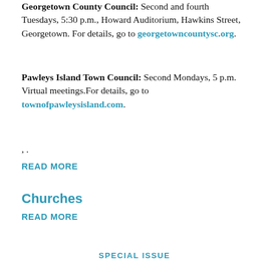Georgetown County Council: Second and fourth Tuesdays, 5:30 p.m., Howard Auditorium, Hawkins Street, Georgetown. For details, go to georgetowncountysc.org.
Pawleys Island Town Council: Second Mondays, 5 p.m. Virtual meetings.For details, go to townofpawleysisland.com.
, .
READ MORE
Churches
READ MORE
SPECIAL ISSUE